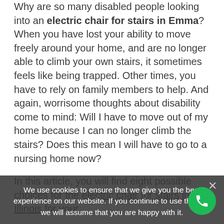Why are so many disabled people looking into an electric chair for stairs in Emma? When you have lost your ability to move freely around your home, and are no longer able to climb your own stairs, it sometimes feels like being trapped. Other times, you have to rely on family members to help. And again, worrisome thoughts about disability come to mind: Will I have to move out of my home because I can no longer climb the stairs? Does this mean I will have to go to a nursing home now?
In this article, you will find eight possible choices for the electric chair for stairs in Illinois for your home. Our plan for your house, will assure that the solutions should work for you, helping you stay in your home and continue being independent and fulfilled in your own space. The
We use cookies to ensure that we give you the best experience on our website. If you continue to use this site we will assume that you are happy with it.